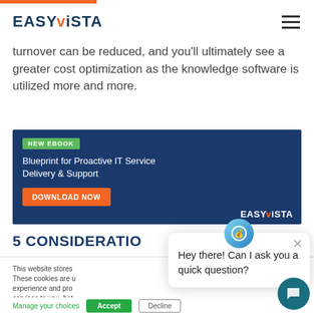EASYViSTA
turnover can be reduced, and you'll ultimately see a greater cost optimization as the knowledge software is utilized more and more.
[Figure (infographic): EasyVista promotional banner for eBook: 'Blueprint for Proactive IT Service Delivery & Support' with a Download Now button and network diagram illustration]
5 CONSIDERATIO
This website stores... These cookies are u... experience and pro... services to you, bot... other media. To find... we use, see our Privacy Policy.
Hey there! Can I ask you a quick question?